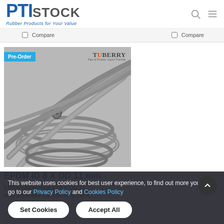PTI STOCK — Rubber Products for Your Value
Compare | Compare
[Figure (photo): EPDM rubber hose coil, grey, pre-order product image with Tuberry brand logo]
EPDM ID 8 X OD 11 mm
EPDM rubber hose ID 8 X OD 11 mm. Thickness 1.5 mm. Ring 25 m
Compare
This website uses cookies for best user experience, to find out more you can go to our Privacy Policy and Cookies Policy
Set Cookies | Accept All